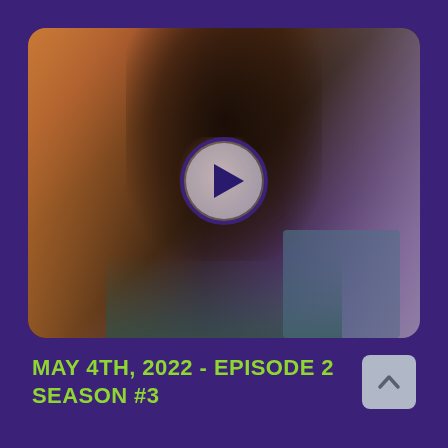[Figure (photo): Video thumbnail of a woman with curly natural hair, wearing large hoop earrings and a teal top, sitting outside near a door and wooden siding, holding a book, looking upward. A circular play button overlay is centered on the image.]
MAY 4TH, 2022 - EPISODE 2
SEASON #3